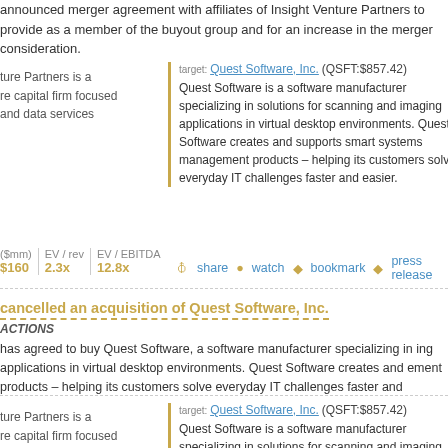announced merger agreement with affiliates of Insight Venture Partners to provide as a member of the buyout group and for an increase in the merger consideration.
target: Quest Software, Inc. (QSFT:$857.42)
Quest Software is a software manufacturer specializing in solutions for scanning and imaging applications in virtual desktop environments. Quest Software creates and supports smart systems management products – helping its customers solve everyday IT challenges faster and easier.
ture Partners is a re capital firm focused and data services
| ($mm) | EV / rev | EV / EBITDA |
| --- | --- | --- |
| $160 | 2.3x | 12.8x |
share  watch  bookmark  press release
cancelled an acquisition of Quest Software, Inc.
ACTIONS
has agreed to buy Quest Software, a software manufacturer specializing in ing applications in virtual desktop environments. Quest Software creates and ement products – helping its customers solve everyday IT challenges faster and
target: Quest Software, Inc. (QSFT:$857.42)
Quest Software is a software manufacturer specializing in solutions for scanning and imaging applications in virtual desktop environments. Quest Software creates and supports smart systems management products –
ture Partners is a re capital firm focused and data services